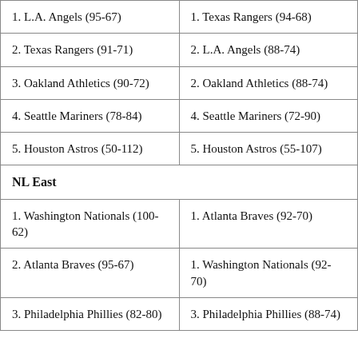| Column 1 | Column 2 |
| --- | --- |
| 1. L.A. Angels (95-67) | 1. Texas Rangers (94-68) |
| 2. Texas Rangers (91-71) | 2. L.A. Angels (88-74) |
| 3. Oakland Athletics (90-72) | 2. Oakland Athletics (88-74) |
| 4. Seattle Mariners (78-84) | 4. Seattle Mariners (72-90) |
| 5. Houston Astros (50-112) | 5. Houston Astros (55-107) |
| NL East |  |
| 1. Washington Nationals (100-62) | 1. Atlanta Braves (92-70) |
| 2. Atlanta Braves (95-67) | 1. Washington Nationals (92-70) |
| 3. Philadelphia Phillies (82-80) | 3. Philadelphia Phillies (88-74) |